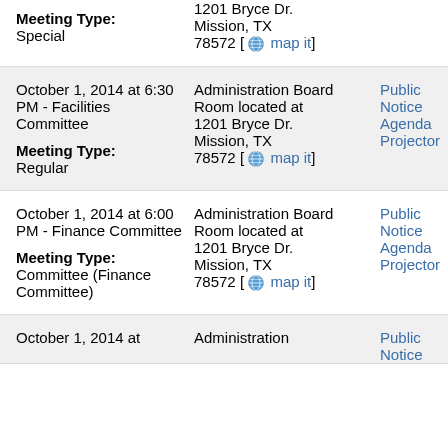Meeting Type: Special | 1201 Bryce Dr. Mission, TX 78572 [map it]
October 1, 2014 at 6:30 PM - Facilities Committee | Meeting Type: Regular | Administration Board Room located at 1201 Bryce Dr. Mission, TX 78572 [map it] | Public Notice Agenda Projector
October 1, 2014 at 6:00 PM - Finance Committee | Meeting Type: Committee (Finance Committee) | Administration Board Room located at 1201 Bryce Dr. Mission, TX 78572 [map it] | Public Notice Agenda Projector
October 1, 2014 at | Administration | Public Notice